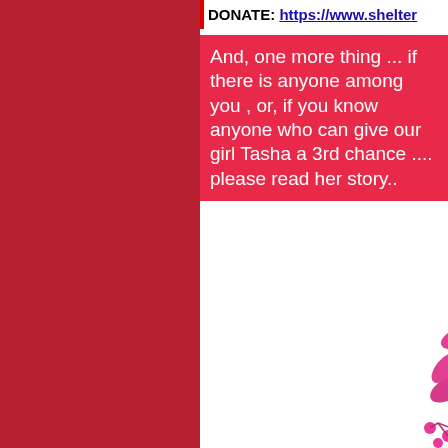DONATE: https://www.shelter...
And, one more thing ... if there is anyone among you , or, if you know anyone who can give our girl Tasha a 3rd chance .... please read her story..
[Figure (logo): Shelter Animals Advocates Heartbeat Campaign circular logo with illustrated dog/cat, surrounded by floral/botanical decorative elements in pink and teal. 'AVAILABLE' text partially visible at bottom right.]